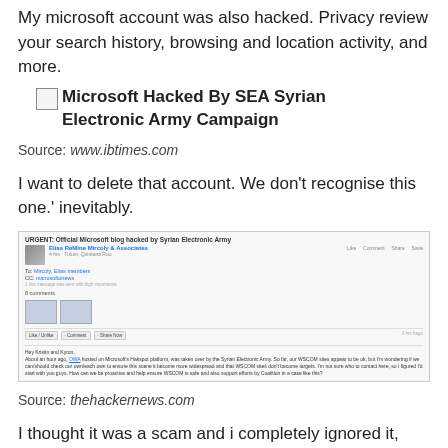My microsoft account was also hacked. Privacy review your search history, browsing and location activity, and more.
[Figure (screenshot): Image placeholder with caption: Microsoft Hacked By SEA Syrian Electronic Army Campaign]
Source: www.ibtimes.com
I want to delete that account. We don't recognise this one.' inevitably.
[Figure (screenshot): Screenshot of a Microsoft blog post hacked by Syrian Electronic Army, showing a Facebook-like interface with a message about WSCOM sites.]
Source: thehackernews.com
I thought it was a scam and i completely ignored it, until i turned. How to recover microsoft account hacked?